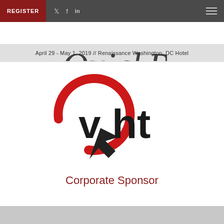REGISTER  |  Twitter  |  Facebook  |  in
April 29 - May 1, 2019 // Renaissance Washington, DC Hotel
[Figure (logo): VHT logo with red circle/cursor icon and bold black letters 'vht']
Corporate Sponsor